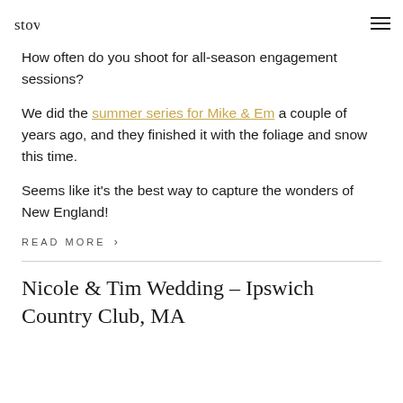stovila
How often do you shoot for all-season engagement sessions?
We did the summer series for Mike & Em a couple of years ago, and they finished it with the foliage and snow this time.
Seems like it's the best way to capture the wonders of New England!
READ MORE >
Nicole & Tim Wedding – Ipswich Country Club, MA